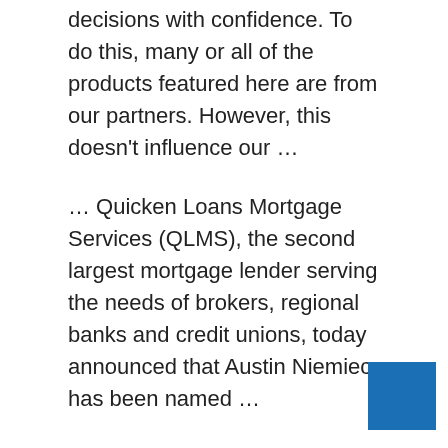decisions with confidence. To do this, many or all of the products featured here are from our partners. However, this doesn't influence our …
… Quicken Loans Mortgage Services (QLMS), the second largest mortgage lender serving the needs of brokers, regional banks and credit unions, today announced that Austin Niemiec has been named …
Find Top-Rated Austin Mortgage Brokers There are 5 top-rated mortgage brokers in your area and 448 to avoid.
Low Cost Mortgage Lenders Some low- and middle-income home buyers are having … rarer because lenders have trouble making profits on smaller loans. …